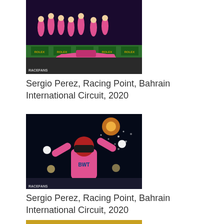[Figure (photo): Racing Point F1 car in pink livery with pit crew in pink uniforms during a pit stop at Bahrain International Circuit, Rolex advertising boards visible. RaceFans watermark at bottom left.]
Sergio Perez, Racing Point, Bahrain International Circuit, 2020
[Figure (photo): Sergio Perez in pink BWT Racing Point race suit celebrating with arms outstretched at night at Bahrain International Circuit, fireworks visible in background. RaceFans watermark at bottom left.]
Sergio Perez, Racing Point, Bahrain International Circuit, 2020
[Figure (photo): Partially visible photo showing DHL branding on yellow/gold background, partially cropped at bottom of page.]